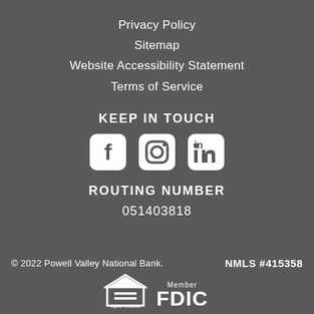Privacy Policy
Sitemap
Website Accessibility Statement
Terms of Service
KEEP IN TOUCH
[Figure (illustration): Social media icons: Facebook, Instagram, LinkedIn]
ROUTING NUMBER
051403818
© 2022 Powell Valley National Bank.   NMLS #415358
[Figure (logo): Equal Housing Lender logo and Member FDIC logo]